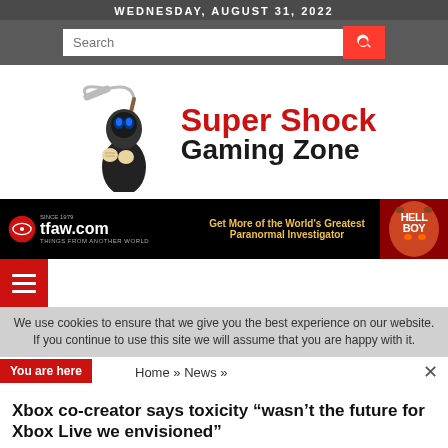WEDNESDAY, AUGUST 31, 2022
[Figure (logo): Super Shock Gaming Zone logo with grim reaper mascot holding a scythe. Red text 'Super Shock' and black text 'Gaming Zone'.]
[Figure (infographic): tfaw.com advertisement banner: 'Get More of the World's Greatest Paranormal Investigator' with Hellboy image on right.]
We use cookies to ensure that we give you the best experience on our website. If you continue to use this site we will assume that you are happy with it.
You are here   Home » News »
Xbox co-creator says toxicity “wasn’t the future for Xbox Live we envisioned”